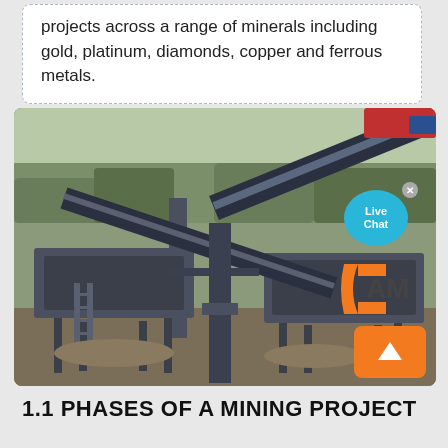projects across a range of minerals including gold, platinum, diamonds, copper and ferrous metals.
[Figure (photo): Photograph of large industrial mining equipment — conveyor belts and screening/sorting machinery at a mineral processing facility, with trees in the background. A 'Live Chat' bubble overlay and a company logo (CAM) watermark are visible.]
1.1 PHASES OF A MINING PROJECT